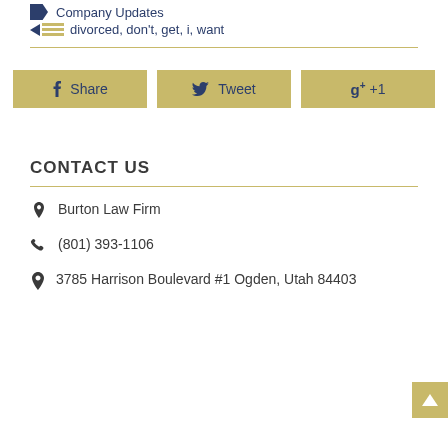Company Updates
divorced, don't, get, i, want
[Figure (infographic): Social share buttons: Facebook Share, Twitter Tweet, Google+ +1]
CONTACT US
Burton Law Firm
(801) 393-1106
3785 Harrison Boulevard #1 Ogden, Utah 84403